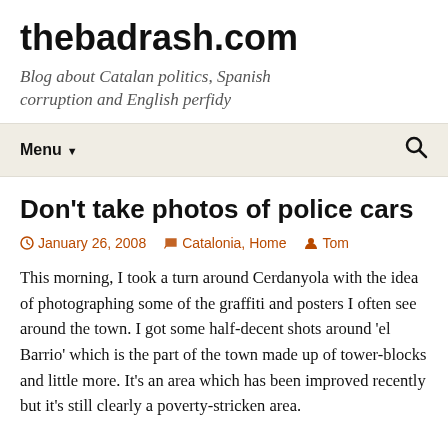thebadrash.com
Blog about Catalan politics, Spanish corruption and English perfidy
Menu
Don't take photos of police cars
January 26, 2008   Catalonia, Home   Tom
This morning, I took a turn around Cerdanyola with the idea of photographing some of the graffiti and posters I often see around the town. I got some half-decent shots around 'el Barrio' which is the part of the town made up of tower-blocks and little more. It's an area which has been improved recently but it's still clearly a poverty-stricken area.